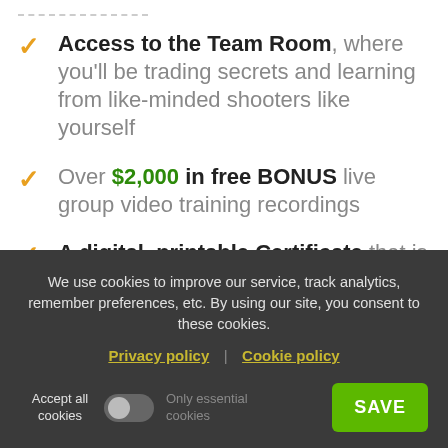Access to the Team Room, where you'll be trading secrets and learning from like-minded shooters like yourself
Over $2,000 in free BONUS live group video training recordings
A digital, printable Certificate that is suitable for framing
We use cookies to improve our service, track analytics, remember preferences, etc. By using our site, you consent to these cookies.
Privacy policy | Cookie policy
Accept all cookies   Only essential cookies   SAVE